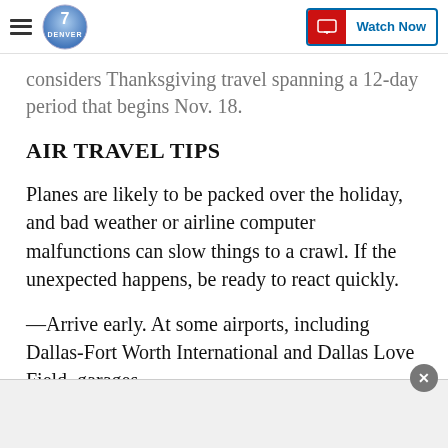Denver7 — Watch Now
considers Thanksgiving travel spanning a 12-day period that begins Nov. 18.
AIR TRAVEL TIPS
Planes are likely to be packed over the holiday, and bad weather or airline computer malfunctions can slow things to a crawl. If the unexpected happens, be ready to react quickly.
—Arrive early. At some airports, including Dallas-Fort Worth International and Dallas Love Field, garages and other facilities can become congested and...